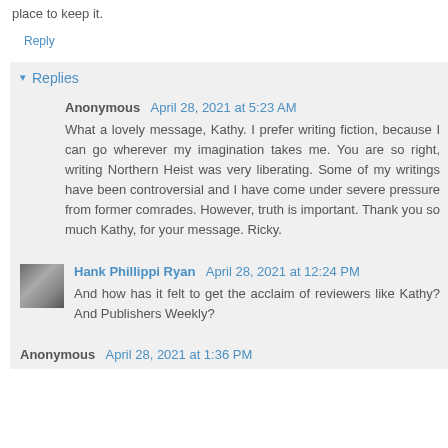place to keep it.
Reply
Replies
Anonymous April 28, 2021 at 5:23 AM
What a lovely message, Kathy. I prefer writing fiction, because I can go wherever my imagination takes me. You are so right, writing Northern Heist was very liberating. Some of my writings have been controversial and I have come under severe pressure from former comrades. However, truth is important. Thank you so much Kathy, for your message. Ricky.
Hank Phillippi Ryan April 28, 2021 at 12:24 PM
And how has it felt to get the acclaim of reviewers like Kathy? And Publishers Weekly?
Anonymous April 28, 2021 at 1:36 PM